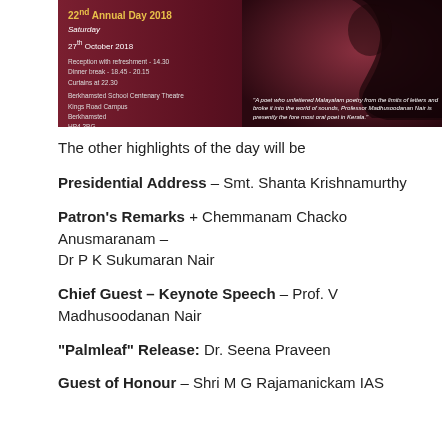[Figure (photo): Event flyer image with dark red/maroon background showing text about Annual Day 2018 on Saturday 27th October 2018, reception details, venue at Berkhamsted School Centenary Theatre, Kings Road Campus, Berkhamsted HP4 3BG, with silhouette of a person's profile and a quote about Professor Madhusoodanan Nair]
The other highlights of the day will be
Presidential Address – Smt. Shanta Krishnamurthy
Patron's Remarks + Chemmanam Chacko Anusmaranam – Dr P K Sukumaran Nair
Chief Guest – Keynote Speech – Prof. V Madhusoodanan Nair
"Palmleaf" Release: Dr. Seena Praveen
Guest of Honour – Shri M G Rajamanickam IAS